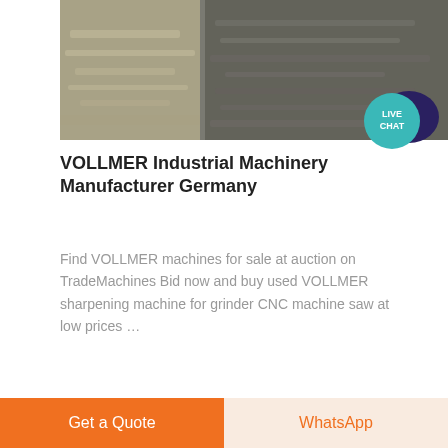[Figure (photo): Close-up photo of a rough rocky or sandy surface texture, dark grey tones]
[Figure (infographic): Live Chat badge — teal circle with white text 'LIVE CHAT' and dark chat bubble icon]
VOLLMER Industrial Machinery Manufacturer Germany
Find VOLLMER machines for sale at auction on TradeMachines Bid now and buy used VOLLMER sharpening machine for grinder CNC machine saw at low prices …
[Figure (photo): Partial strip of a machine/equipment photo at the bottom of the card]
Get a Quote
WhatsApp